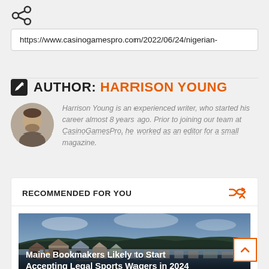[Figure (other): Share icon (social sharing button)]
https://www.casinogamespro.com/2022/06/24/nigerian-
AUTHOR: HARRISON YOUNG
Harrison Young is an experienced writer, who started his career almost 8 years ago. Prior to joining our team at CasinoGamesPro, he worked as an editor for a small magazine.
RECOMMENDED FOR YOU
[Figure (photo): Photo of a coastal town at dusk with houses, water reflections, and forest in the background]
Maine Bookmakers Likely to Start Accepting Legal Sports Wagers in 2024